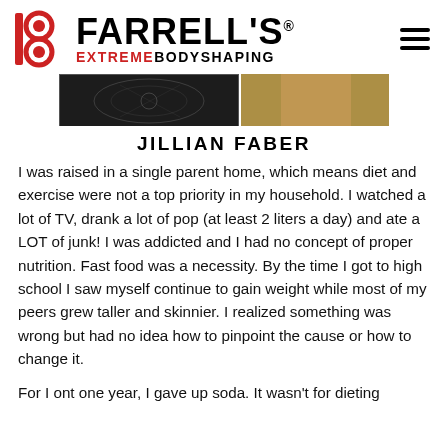FARRELL'S EXTREME BODYSHAPING
[Figure (photo): Cropped photo strip showing two photos of a person — left side dark/tattoo image, right side showing skin/arm in outdoor setting]
JILLIAN FABER
I was raised in a single parent home, which means diet and exercise were not a top priority in my household. I watched a lot of TV, drank a lot of pop (at least 2 liters a day) and ate a LOT of junk! I was addicted and I had no concept of proper nutrition. Fast food was a necessity. By the time I got to high school I saw myself continue to gain weight while most of my peers grew taller and skinnier. I realized something was wrong but had no idea how to pinpoint the cause or how to change it.
For I ont one year, I gave up soda. It wasn't for dieting